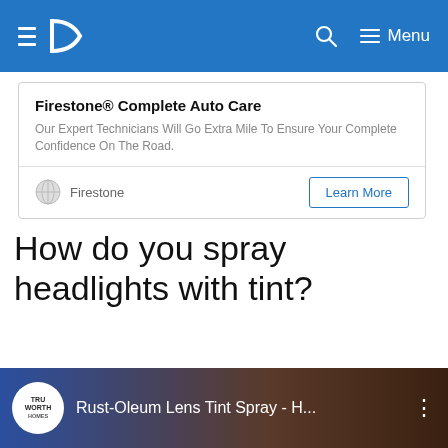Navigation bar with logo, search, and menu
[Figure (screenshot): Advertisement box: Firestone Complete Auto Care - Our Expert Technicians Will Go Extra Mile To Ensure Your Complete Confidence On The Road. With Firestone brand logo and Learn More button.]
How do you spray headlights with tint?
[Figure (screenshot): YouTube video thumbnail showing Rust-Oleum Lens Tint Spray - H... with TruWorth Homes channel logo]
[Figure (screenshot): Advertisement for Topgolf: Perfect activity for everyone. Topgolf. With Topgolf logo and navigation arrow icon.]